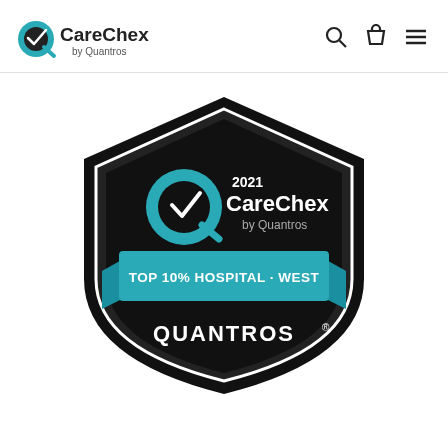[Figure (logo): CareChex by Quantros logo in the page header, teal Q icon with checkmark and CareChex text]
[Figure (illustration): 2021 CareChex by Quantros award badge — black shield shape with white border, teal CareChex logo inside, teal ribbon banner reading TOP 10% HOSPITAL - WEST, and QUANTROS text at the bottom of the shield]